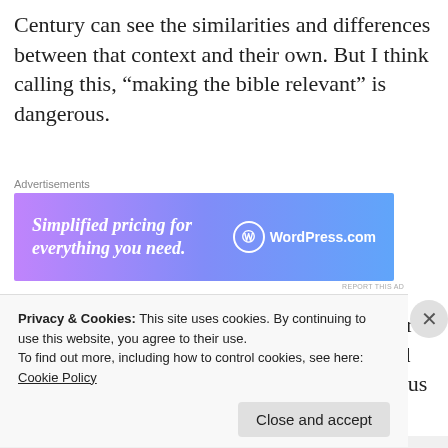Century can see the similarities and differences between that context and their own.  But I think calling this, “making the bible relevant” is dangerous.
[Figure (other): WordPress.com advertisement banner with gradient purple-blue background. Text: 'Simplified pricing for everything you need.' with WordPress.com logo.]
We’re talking about a book we call “The Word of God” – the story of God’s life with, in and through the people of Israel.  The story of Jesus of
Privacy & Cookies: This site uses cookies. By continuing to use this website, you agree to their use.
To find out more, including how to control cookies, see here: Cookie Policy